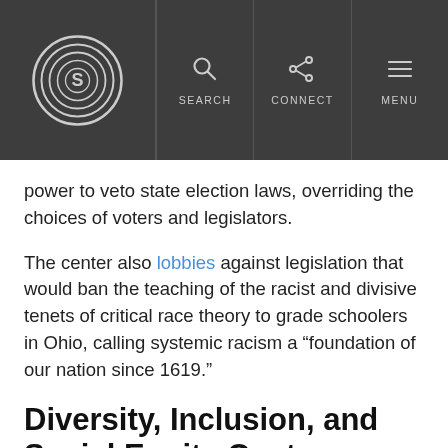S | SEARCH | CONNECT | MENU
power to veto state election laws, overriding the choices of voters and legislators.
The center also lobbies against legislation that would ban the teaching of the racist and divisive tenets of critical race theory to grade schoolers in Ohio, calling systemic racism a “foundation of our nation since 1619.”
Diversity, Inclusion, and Social Equity Center
The Hockessin Colored School #107 played a historic role in the landmark Brown v. Board of Education case